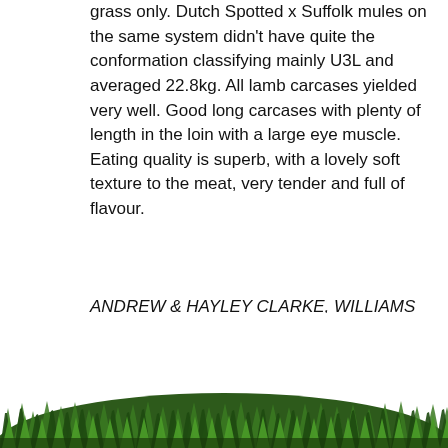grass only.  Dutch Spotted x Suffolk mules on the same system didn't have quite the conformation classifying mainly U3L and averaged 22.8kg.  All lamb carcases yielded very well.  Good long carcases with plenty of length in the loin with a large eye muscle.  Eating quality is superb, with a lovely soft texture to the meat, very tender and full of flavour.
ANDREW & HAYLEY CLARKE, WILLIAMS FLOCK DSSS
[Figure (illustration): A decorative illustration of a grass field at the bottom of the page, showing dense green grass blades against a white background.]